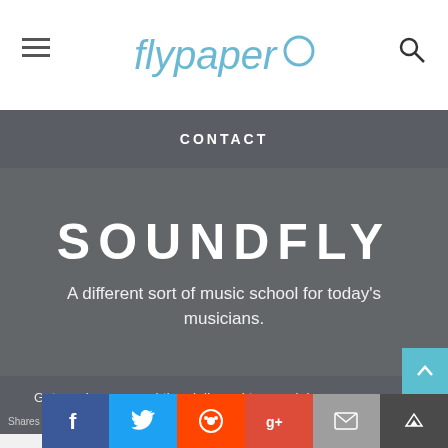Flypaper logo header with hamburger menu and search icon
CONTACT
SOUNDFLY
A different sort of music school for today's musicians.
Get music news and tips delivered to your inbox once a week.
Your email address
SIGN UP
Shares  Facebook  Twitter  Reddit  Google+  Mail  Crown